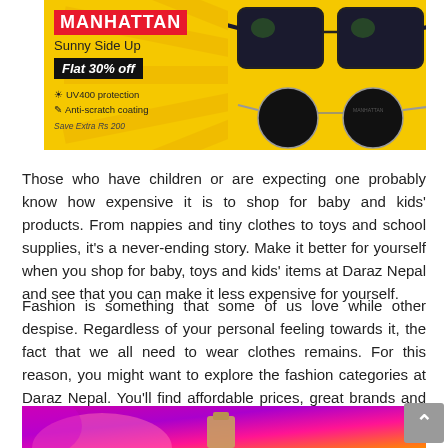[Figure (infographic): Manhattan sunglasses advertisement banner on yellow background. Shows brand name MANHATTAN in red tag, tagline 'Sunny Side Up', offer 'Flat 30% off' in black box, features UV400 protection and Anti-scratch coating, Save Extra Rs 200. Two pairs of sunglasses on right side.]
Those who have children or are expecting one probably know how expensive it is to shop for baby and kids' products. From nappies and tiny clothes to toys and school supplies, it's a never-ending story. Make it better for yourself when you shop for baby, toys and kids' items at Daraz Nepal and see that you can make it less expensive for yourself.
Fashion is something that some of us love while other despise. Regardless of your personal feeling towards it, the fact that we all need to wear clothes remains. For this reason, you might want to explore the fashion categories at Daraz Nepal. You'll find affordable prices, great brands and good quality.
[Figure (infographic): Bottom cropped banner with purple and pink gradient background, partially visible product image.]